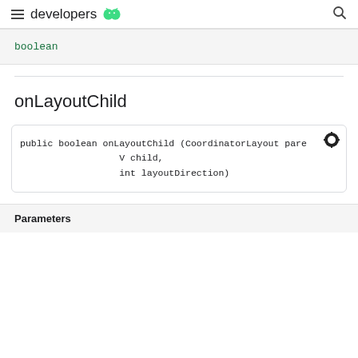developers
boolean
onLayoutChild
public boolean onLayoutChild (CoordinatorLayout pare
                  V child,
                  int layoutDirection)
| Parameters |
| --- |